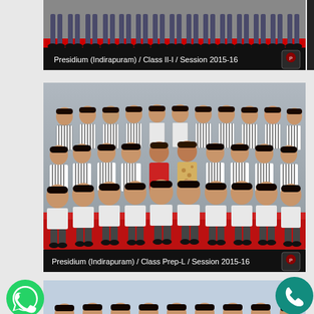[Figure (photo): Cropped school class photograph showing legs and feet of students in uniform, with black caption bar reading 'Presidium (Indirapuram) / Class II-I / Session 2015-16' with school shield logo]
Presidium (Indirapuram) / Class II-I / Session 2015-16
[Figure (photo): School class photograph of young students in uniform (striped shirts and white shirts) posed in three rows with two teachers, gray background, red chairs in front row. Black caption bar at bottom reads 'Presidium (Indirapuram) / Class Prep-L / Session 2015-16' with school shield logo.]
Presidium (Indirapuram) / Class Prep-L / Session 2015-16
[Figure (photo): Partial school class photograph visible at bottom of page with light blue/gray background, partially cut off. WhatsApp icon (green circle) on left and phone icon (teal circle) on right overlaid on the image.]